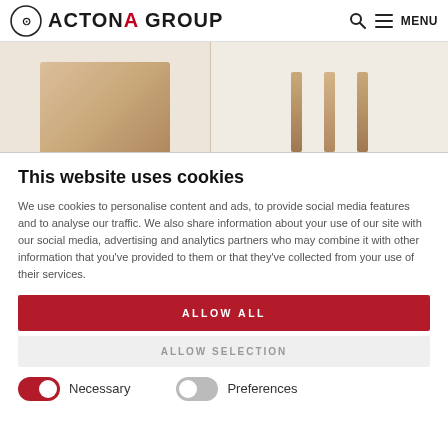ACTONA GROUP
[Figure (photo): Furniture product images — a close-up of a wooden panel/table surface on the left, and table legs on the right, against a light background]
This website uses cookies
We use cookies to personalise content and ads, to provide social media features and to analyse our traffic. We also share information about your use of our site with our social media, advertising and analytics partners who may combine it with other information that you've provided to them or that they've collected from your use of their services.
ALLOW ALL
ALLOW SELECTION
Necessary
Preferences